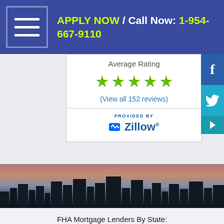APPLY NOW / Call Now: 1-954-667-9110
Average Rating
[Figure (infographic): Five green star rating icons]
(View all 152 reviews)
[Figure (logo): Zillow logo with PROVIDED BY label]
[Figure (photo): City skyline at dusk/sunset]
FHA Mortgage Lenders By State:
Florida
Texas
Georgia
Alabama
California
FHA Mortgage Lenders Now